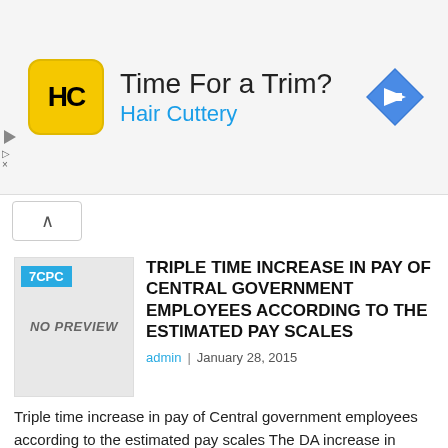[Figure (screenshot): Hair Cuttery advertisement banner with yellow logo, title 'Time For a Trim?' and blue diamond arrow icon]
TRIPLE TIME INCREASE IN PAY OF CENTRAL GOVERNMENT EMPLOYEES ACCORDING TO THE ESTIMATED PAY SCALES
admin  |  January 28, 2015
Triple time increase in pay of Central government employees according to the estimated pay scales The DA increase in January and July 2015 will play a vital role
Read More